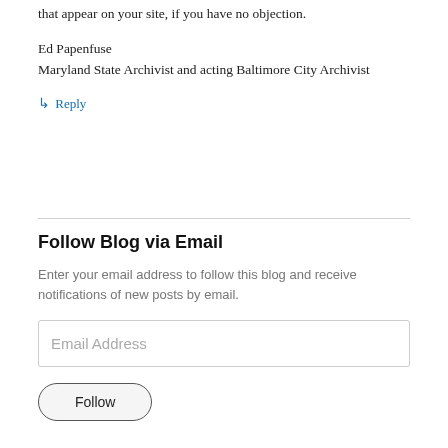that appear on your site, if you have no objection.
Ed Papenfuse
Maryland State Archivist and acting Baltimore City Archivist
↳ Reply
Follow Blog via Email
Enter your email address to follow this blog and receive notifications of new posts by email.
Email Address
Follow